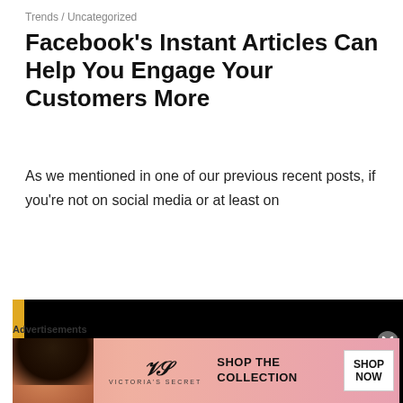Trends / Uncategorized
Facebook’s Instant Articles Can Help You Engage Your Customers More
As we mentioned in one of our previous recent posts, if you’re not on social media or at least on
Continue reading »
[Figure (other): A dark video player with a yellow strip on the left side and a white rectangle visible at the bottom center, appearing to be a partially loaded or paused video.]
Advertisements
[Figure (other): Victoria’s Secret advertisement banner with a model, VS logo, text SHOP THE COLLECTION, and a SHOP NOW button.]